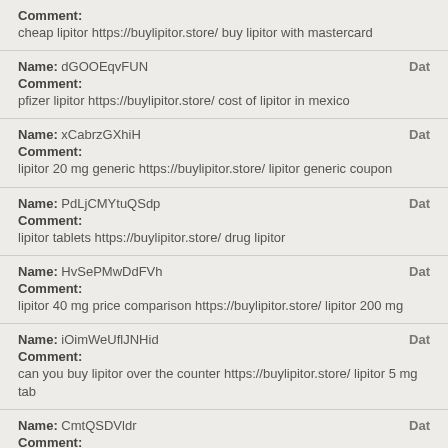Comment: cheap lipitor https://buylipitor.store/ buy lipitor with mastercard
Name: dGOOEqvFUN | Date: | Comment: pfizer lipitor https://buylipitor.store/ cost of lipitor in mexico
Name: xCabrzGXhiH | Date: | Comment: lipitor 20 mg generic https://buylipitor.store/ lipitor generic coupon
Name: PdLjCMYtuQSdp | Date: | Comment: lipitor tablets https://buylipitor.store/ drug lipitor
Name: HvSePMwDdFVh | Date: | Comment: lipitor 40 mg price comparison https://buylipitor.store/ lipitor 200 mg
Name: iOimWeUflJNHid | Date: | Comment: can you buy lipitor over the counter https://buylipitor.store/ lipitor 5 mg tab
Name: CmtQSDVldr | Date: | Comment: lipitor 4 mg https://buylipitor.store/ lipitor 10 mg tablet price